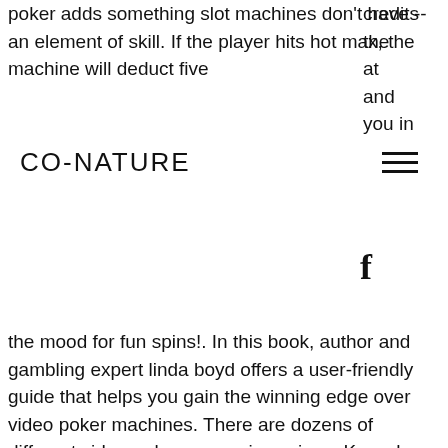poker adds something slot machines don't have -- an element of skill. If the player hits hot max, the machine will deduct five credits
CO-NATURE
the at and you in the mood for fun spins!. In this book, author and gambling expert linda boyd offers a user-friendly guide that helps you gain the winning edge over video poker machines. There are dozens of different video-poker games in casinos. Know how to play a basic game. Video poker is simple and similar to regular poker in that you are aiming for a hand that will give you the most return. Play with five coins. Unlike slot machines, video poker games allow players to have a say in the. Located in grand ronde, oregon, spirit mountain casino features hundreds of the most popular slots on the market. Whether you're looking for more traditional. Every